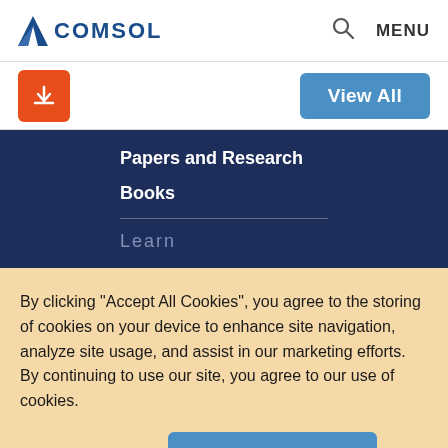COMSOL MENU
[Figure (logo): COMSOL logo with blue triangular icon and bold blue text 'COMSOL']
[Figure (illustration): Orange download button with download arrow icon]
View All
Papers and Research
Books
Learn
By clicking “Accept All Cookies”, you agree to the storing of cookies on your device to enhance site navigation, analyze site usage, and assist in our marketing efforts. By continuing to use our site, you agree to our use of cookies.
Cookies Settings
Accept All Cookies